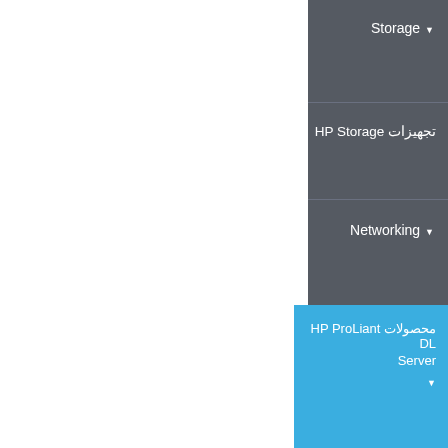▼ Storage
تجهيزات HP Storage
▼ Networking
محصولات HP ProLiant DL Server ▼
محصولات HP ProLiant ML Server ▼
محصولات HP Integrity Server Blades ▼
محصولات HP ProLiant Scalable Systems ▼
محصولات HP Blade System